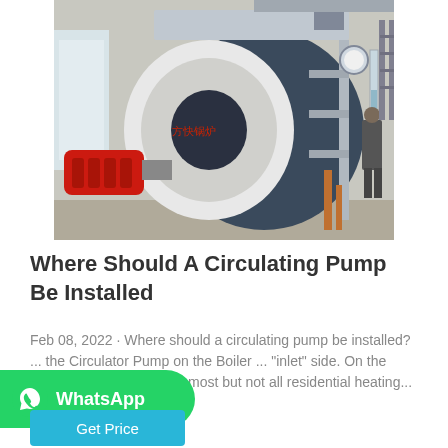[Figure (photo): A large industrial fire-tube boiler with a red burner on the left side and pipes/gauge on the right, installed indoors. Chinese text on the boiler reads 方快锅炉. A worker stands to the right.]
Where Should A Circulating Pump Be Installed
Feb 08, 2022 · Where should a circulating pump be installed? ... the Circulator Pump on the Boiler ... "inlet" side. On the boiler return or inlet side. most but not all residential heating...